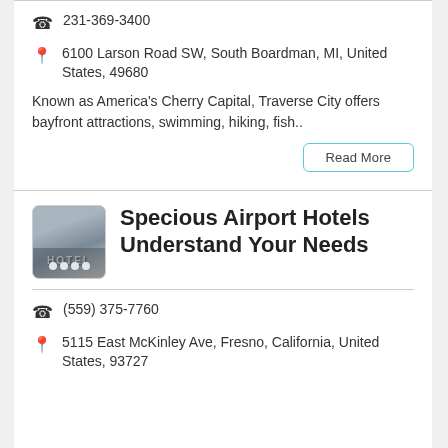231-369-3400
6100 Larson Road SW, South Boardman, MI, United States, 49680
Known as America's Cherry Capital, Traverse City offers bayfront attractions, swimming, hiking, fish..
Read More
[Figure (photo): Hotel exterior photo thumbnail]
Specious Airport Hotels Understand Your Needs
(559) 375-7760
5115 East McKinley Ave, Fresno, California, United States, 93727